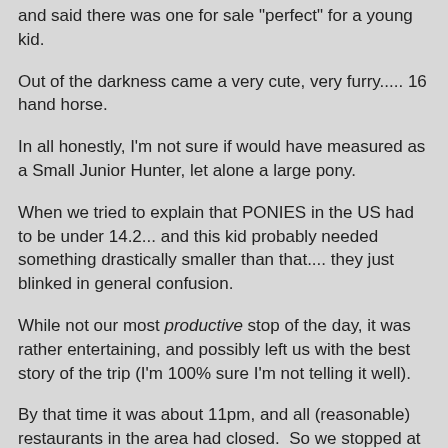and said there was one for sale "perfect" for a young kid.
Out of the darkness came a very cute, very furry..... 16 hand horse.
In all honestly, I'm not sure if would have measured as a Small Junior Hunter, let alone a large pony.
When we tried to explain that PONIES in the US had to be under 14.2... and this kid probably needed something drastically smaller than that.... they just blinked in general confusion.
While not our most productive stop of the day, it was rather entertaining, and possibly left us with the best story of the trip (I'm 100% sure I'm not telling it well).
By that time it was about 11pm, and all (reasonable) restaurants in the area had closed.  So we stopped at a McD's at a gas station and after a few more minutes of discussion - we put the offer in for the 1.40m Gray.